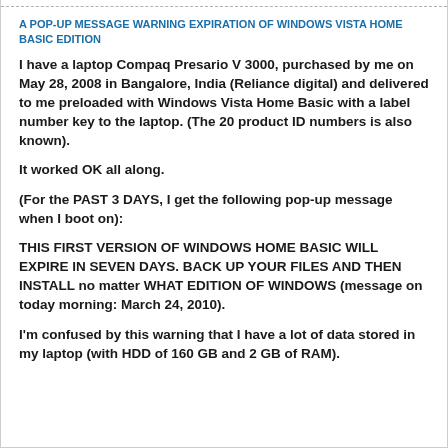A POP-UP MESSAGE WARNING EXPIRATION OF WINDOWS VISTA HOME BASIC EDITION
I have a laptop Compaq Presario V 3000, purchased by me on May 28, 2008 in Bangalore, India (Reliance digital) and delivered to me preloaded with Windows Vista Home Basic with a label number key to the laptop. (The 20 product ID numbers is also known).
It worked OK all along.
(For the PAST 3 DAYS, I get the following pop-up message when I boot on):
THIS FIRST VERSION OF WINDOWS HOME BASIC WILL EXPIRE IN SEVEN DAYS. BACK UP YOUR FILES AND THEN INSTALL no matter WHAT EDITION OF WINDOWS (message on today morning: March 24, 2010).
I'm confused by this warning that I have a lot of data stored in my laptop (with HDD of 160 GB and 2 GB of RAM).